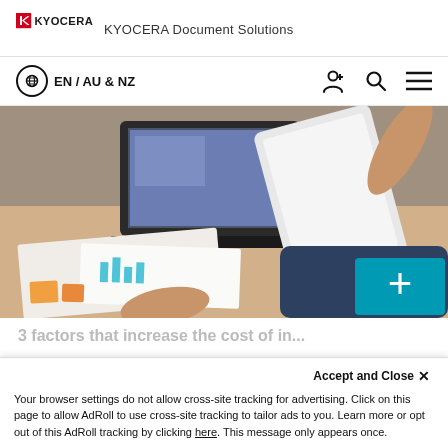KYOCERA Document Solutions
EN / AU & NZ
[Figure (photo): Business professionals working at a desk with a laptop, tablet, printed documents with charts, and one person writing with a pen. A teal/cyan '+' button overlay in bottom right corner.]
3 factors that increase the cost of in...
Accept and Close ×
Your browser settings do not allow cross-site tracking for advertising. Click on this page to allow AdRoll to use cross-site tracking to tailor ads to you. Learn more or opt out of this AdRoll tracking by clicking here. This message only appears once.